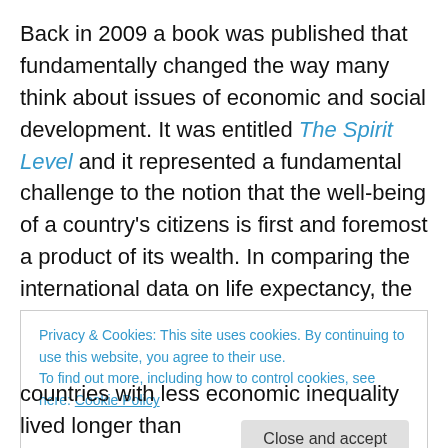Back in 2009 a book was published that fundamentally changed the way many think about issues of economic and social development. It was entitled The Spirit Level and it represented a fundamental challenge to the notion that the well-being of a country's citizens is first and foremost a product of its wealth. In comparing the international data on life expectancy, the book's authors, who are both epidemiologists, observed that while indeed wealth was correlated with life expectancy in the early stages of a country's economic development, once a certain basic level of development was achieved the
Privacy & Cookies: This site uses cookies. By continuing to use this website, you agree to their use.
To find out more, including how to control cookies, see here: Cookie Policy
countries with less economic inequality lived longer than